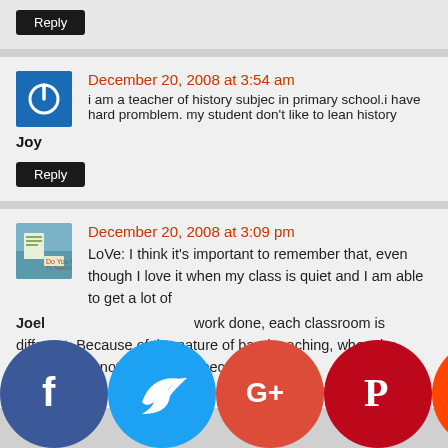Reply
December 20, 2008 at 3:54 am
Joy
i am a teacher of history subjec in primary school.i have hard promblem. my student don't like to lean history
Reply
December 20, 2008 at 3:09 pm
Joel
LoVe: I think it's important to remember that, even though I love it when my class is quiet and I am able to get a lot of work done, each classroom is different. Because of the nature of band teaching, when the students are not playing, I expect them to be quiet listening to my barrage of instructions, take in what I'm talking playing from him bring
[Figure (infographic): Social media sharing buttons: Facebook, Twitter, Google+, Pinterest, Reddit, and one more circle icon at bottom of page]